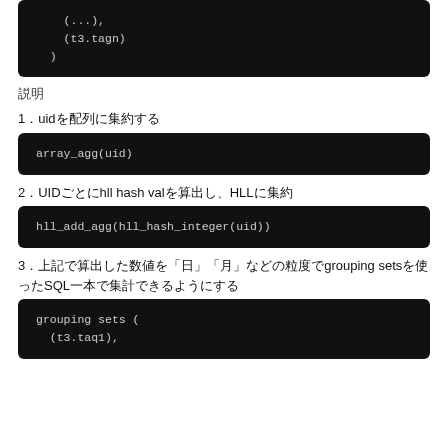[Figure (screenshot): Code block showing (...), (t3.tagn) )]
説明
1．uidを配列に集約する
[Figure (screenshot): Code block: array_agg(uid)]
2．UIDごとにhll hash valを算出し、HLLに集約
[Figure (screenshot): Code block: hll_add_agg(hll_hash_integer(uid))]
3．上記で算出した数値を「日」「月」などの粒度でgrouping setsを使ったSQL一本で集計できるようにする
[Figure (screenshot): Code block: grouping sets ( (t3.taq1),]